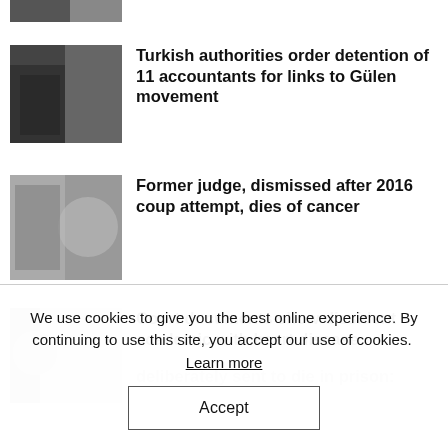[Figure (photo): Partial news thumbnail at top, cropped]
Turkish authorities order detention of 11 accountants for links to Gülen movement
[Figure (photo): Two men, one in suit with red sash, another man's face close up]
Former judge, dismissed after 2016 coup attempt, dies of cancer
[Figure (photo): Man in checked shirt with prison bars in background]
Court documents show dissident academic with heart disease deliberately sent to die in prison: report
We use cookies to give you the best online experience. By continuing to use this site, you accept our use of cookies. Learn more
Accept